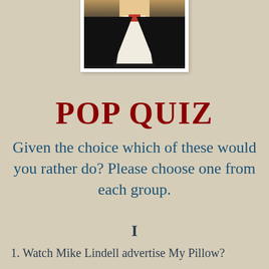[Figure (photo): Partial photo of a person in a dark jacket with white shirt and red bow tie, shown from chin/neck down, mounted on white polaroid-style background]
POP QUIZ
Given the choice which of these would you rather do? Please choose one from each group.
I
1. Watch Mike Lindell advertise My Pillow?